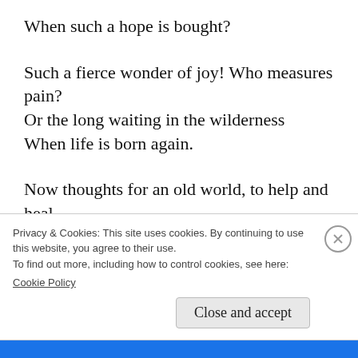When such a hope is bought?
Such a fierce wonder of joy! Who measures pain?
Or the long waiting in the wilderness
When life is born again.
Now thoughts for an old world, to help and heal.
Not dreams for fairy islands far away,
But here and for to-day
Privacy & Cookies: This site uses cookies. By continuing to use this website, you agree to their use.
To find out more, including how to control cookies, see here:
Cookie Policy
Close and accept